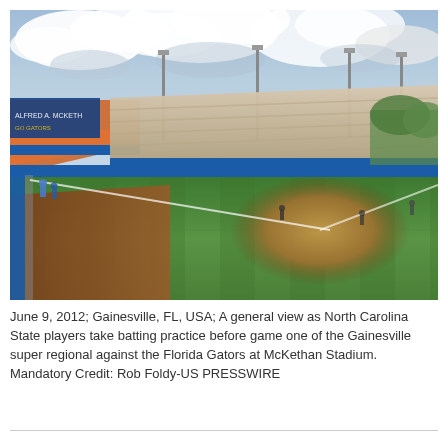[Figure (photo): Panoramic view of McKethan Stadium in Gainesville, FL. The photo shows North Carolina State players taking batting practice on the baseball field. Visible are the green playing field, infield dirt, warning track, blue outfield wall, stadium seating stands, light poles, and a partly cloudy sky.]
June 9, 2012; Gainesville, FL, USA; A general view as North Carolina State players take batting practice before game one of the Gainesville super regional against the Florida Gators at McKethan Stadium. Mandatory Credit: Rob Foldy-US PRESSWIRE